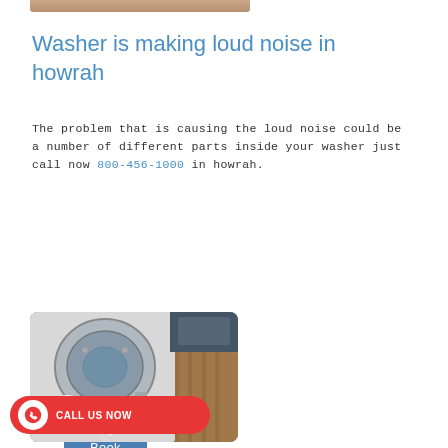[Figure (photo): Partial top of a photo showing what appears to be a person or object, cropped at the bottom of the previous section.]
Washer is making loud noise in howrah
The problem that is causing the loud noise could be a number of different parts inside your washer just call now 800-456-1000 in howrah.
Book
[Figure (photo): Photo of a disassembled washing machine showing internal parts including drum, hoses, and components on a wooden floor.]
CALL US NOW